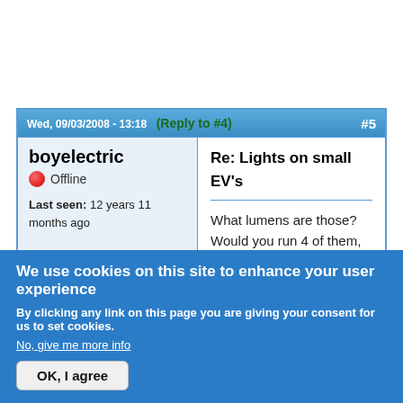Wed, 09/03/2008 - 13:18  (Reply to #4)  #5
boyelectric
Offline
Last seen: 12 years 11 months ago
Joined: Friday, October 12, 2007 - 11:00
Points: 101
Re: Lights on small EV's
What lumens are those? Would you run 4 of them, or do you have a DC-DC converter? What is the beam angle?
We use cookies on this site to enhance your user experience
By clicking any link on this page you are giving your consent for us to set cookies.
No, give me more info
OK, I agree